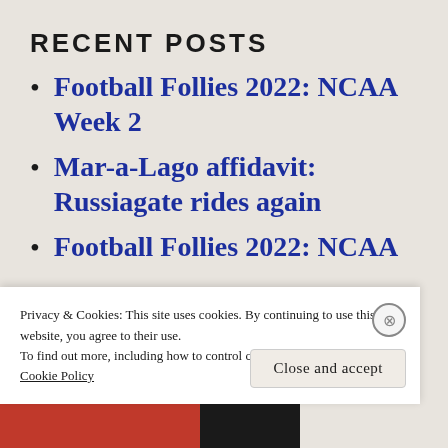RECENT POSTS
Football Follies 2022: NCAA Week 2
Mar-a-Lago affidavit: Russiagate rides again
Football Follies 2022: NCAA
Privacy & Cookies: This site uses cookies. By continuing to use this website, you agree to their use.
To find out more, including how to control cookies, see here: Cookie Policy
Close and accept